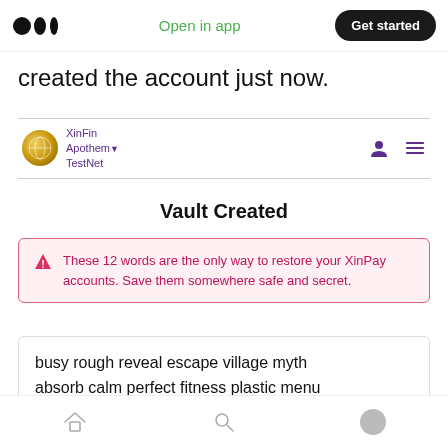Medium logo | Open in app | Get started
created the account just now.
[Figure (screenshot): XinFin Apothem TestNet app bar with logo, network name with dropdown arrow, user icon and hamburger menu]
Vault Created
These 12 words are the only way to restore your XinPay accounts. Save them somewhere safe and secret.
busy rough reveal escape village myth absorb calm perfect fitness plastic menu
Home | Search | Profile